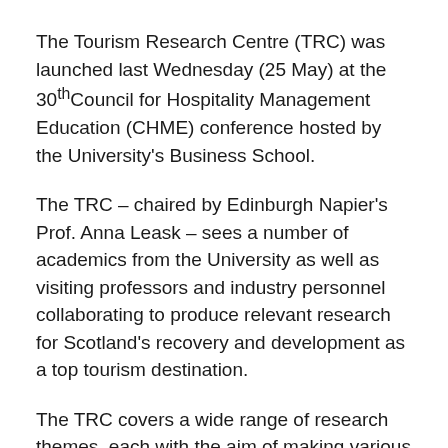The Tourism Research Centre (TRC) was launched last Wednesday (25 May) at the 30th Council for Hospitality Management Education (CHME) conference hosted by the University's Business School.
The TRC – chaired by Edinburgh Napier's Prof. Anna Leask – sees a number of academics from the University as well as visiting professors and industry personnel collaborating to produce relevant research for Scotland's recovery and development as a top tourism destination.
The TRC covers a wide range of research themes, each with the aim of making various types of destinations socially responsible by focusing on evidence-based practical implications for managers and policymakers on sustainability and inclusivity.
Whether that be urban or rural spaces, natural resources, heritage sites or events or festivals, the goal is to enable